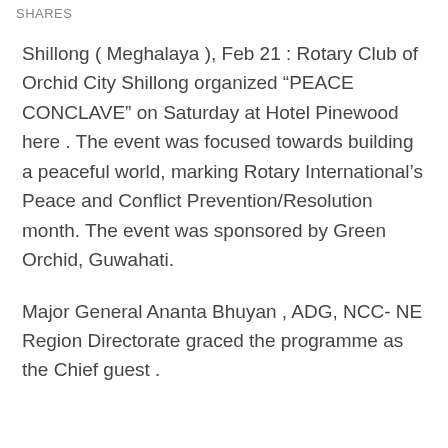SHARES
Shillong ( Meghalaya ), Feb 21 : Rotary Club of Orchid City Shillong organized “PEACE CONCLAVE” on Saturday at Hotel Pinewood here . The event was focused towards building a peaceful world, marking Rotary International’s Peace and Conflict Prevention/Resolution month. The event was sponsored by Green Orchid, Guwahati.
Major General Ananta Bhuyan , ADG, NCC- NE Region Directorate graced the programme as the Chief guest .